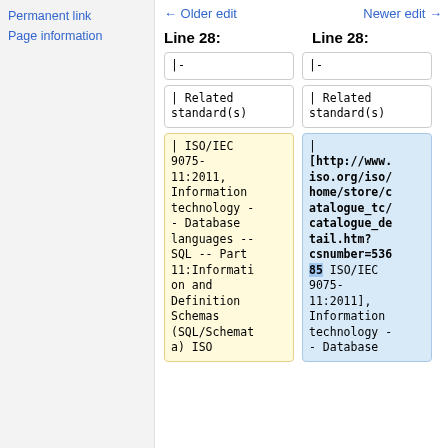Permanent link
Page information
← Older edit
Newer edit →
Line 28:
Line 28:
|-
|-
| Related standard(s)
| Related standard(s)
| ISO/IEC 9075-11:2011, Information technology -- Database languages -- SQL -- Part 11:Information and Definition Schemas (SQL/Schemat a) ISO
| [http://www.iso.org/iso/home/store/catalogue_tc/catalogue_detail.htm?csnumber=53685 ISO/IEC 9075-11:2011], Information technology - - Database